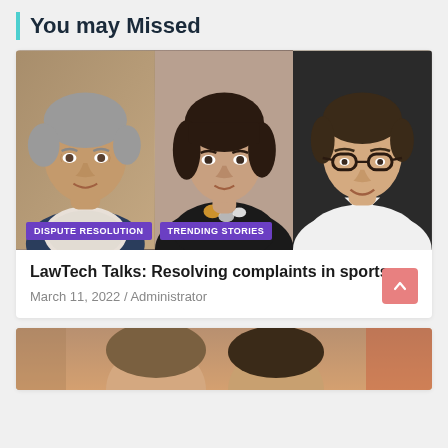You may Missed
[Figure (photo): Three headshot photos side by side: a middle-aged man with grey hair in a blazer and patterned shirt (left), a woman with dark bob hair wearing a black top and amber necklace (center), and a man with glasses in a white shirt smiling (right). Two purple category tags overlay the bottom: DISPUTE RESOLUTION and TRENDING STORIES.]
LawTech Talks: Resolving complaints in sports
March 11, 2022 / Administrator
[Figure (photo): Partial view of two people at a social/event setting, cropped at bottom of page.]